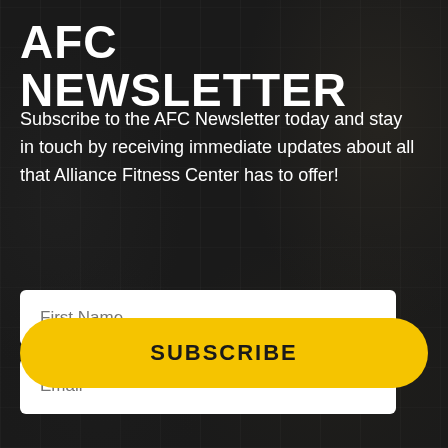AFC NEWSLETTER
Subscribe to the AFC Newsletter today and stay in touch by receiving immediate updates about all that Alliance Fitness Center has to offer!
[Figure (other): Form input field with placeholder text 'First Name' on dark gym background]
[Figure (other): Form input field with placeholder text 'Email' on dark gym background]
SUBSCRIBE